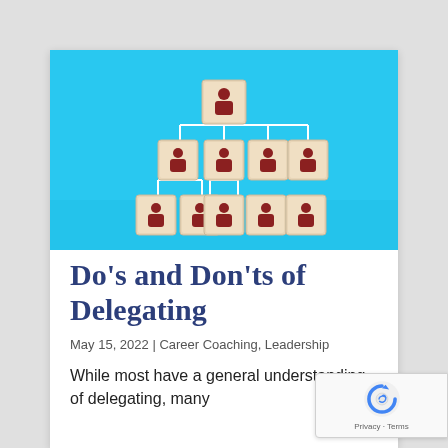[Figure (photo): Organizational hierarchy made of wooden blocks with people icons arranged in a tree structure on a bright blue background]
Do's and Don'ts of Delegating
May 15, 2022 | Career Coaching, Leadership
While most have a general understanding of delegating, many